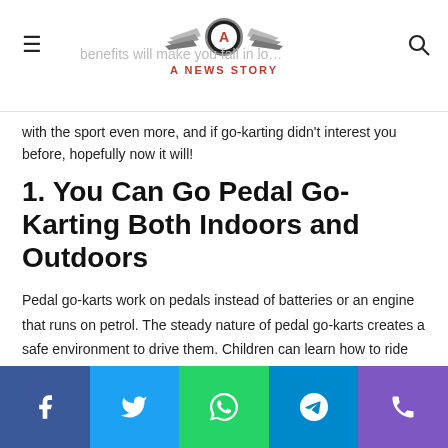A NEWS STORY
benefits will make you fall in love with the sport even more, and if go-karting didn't interest you before, hopefully now it will!
1. You Can Go Pedal Go-Karting Both Indoors and Outdoors
Pedal go-karts work on pedals instead of batteries or an engine that runs on petrol. The steady nature of pedal go-karts creates a safe environment to drive them. Children can learn how to ride them safely from a young age itself and avoid the risk of getting injured. As for adults, they can take them for a spin outdoors and drive them indoors in their comfort zone.
Social share buttons: Facebook, Twitter, WhatsApp, Telegram, Phone